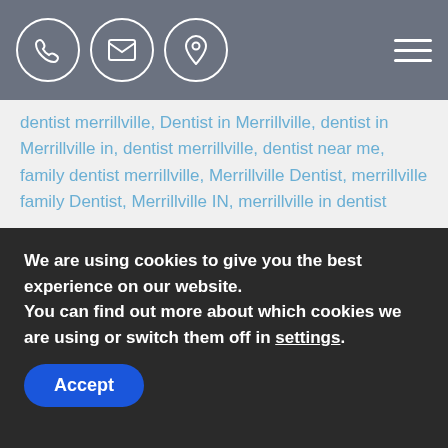Navigation bar with phone, email, location icons and hamburger menu
dentist merrillville, Dentist in Merrillville, dentist in Merrillville in, dentist merrillville, dentist near me, family dentist merrillville, Merrillville Dentist, merrillville family Dentist, Merrillville IN, merrillville in dentist
Chew on This: Foods for Healthy Teeth | Merrillville Dentist
No time to brush or floss your teeth? When brushing or flossing isn't convenient, our dentist in 46410 says that you can still keep your mouth feeling fresh by eating
We are using cookies to give you the best experience on our website.
You can find out more about which cookies we are using or switch them off in settings.
Accept